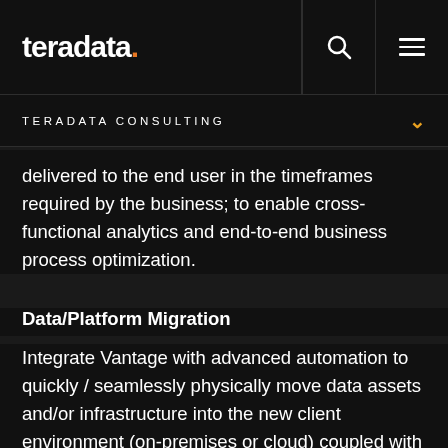teradata.
TERADATA CONSULTING
delivered to the end user in the timeframes required by the business; to enable cross-functional analytics and end-to-end business process optimization.
Data/Platform Migration
Integrate Vantage with advanced automation to quickly / seamlessly physically move data assets and/or infrastructure into the new client environment (on-premises or cloud) coupled with